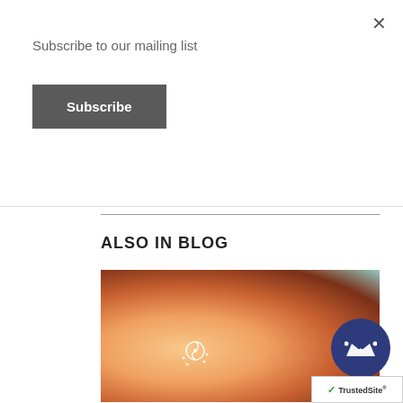×
Subscribe to our mailing list
Subscribe
ALSO IN BLOG
[Figure (photo): Woman with eyes closed, face tilted up toward sunlight, with a decorative sun swirl design on her cheek, teal/aqua background]
5 INGREDIENTS YOU WANT TO SEE IN YOUR